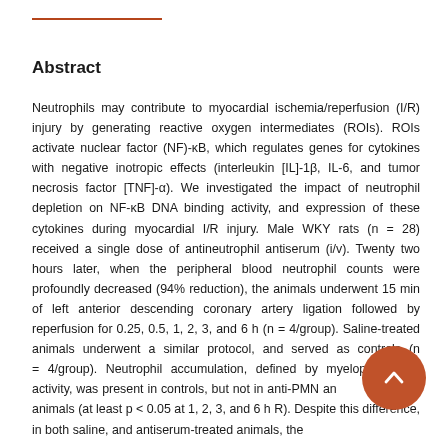Abstract
Neutrophils may contribute to myocardial ischemia/reperfusion (I/R) injury by generating reactive oxygen intermediates (ROIs). ROIs activate nuclear factor (NF)-κB, which regulates genes for cytokines with negative inotropic effects (interleukin [IL]-1β, IL-6, and tumor necrosis factor [TNF]-α). We investigated the impact of neutrophil depletion on NF-κB DNA binding activity, and expression of these cytokines during myocardial I/R injury. Male WKY rats (n = 28) received a single dose of antineutrophil antiserum (i/v). Twenty two hours later, when the peripheral blood neutrophil counts were profoundly decreased (94% reduction), the animals underwent 15 min of left anterior descending coronary artery ligation followed by reperfusion for 0.25, 0.5, 1, 2, 3, and 6 h (n = 4/group). Saline-treated animals underwent a similar protocol, and served as controls (n = 4/group). Neutrophil accumulation, defined by myeloperoxidase activity, was present in controls, but not in anti-PMN antiserum-treated animals (at least p < 0.05 at 1, 2, 3, and 6 h R). Despite this difference, in both saline, and antiserum-treated animals, the